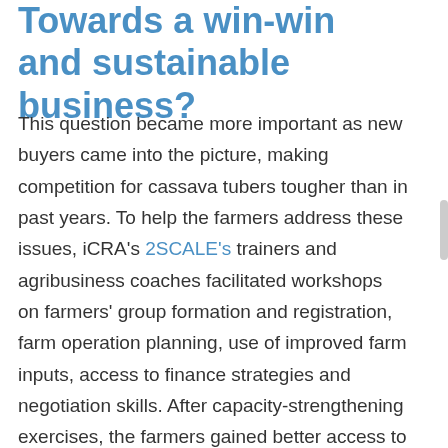Towards a win-win and sustainable business?
This question became more important as new buyers came into the picture, making competition for cassava tubers tougher than in past years. To help the farmers address these issues, iCRA's 2SCALE's trainers and agribusiness coaches facilitated workshops on farmers' group formation and registration, farm operation planning, use of improved farm inputs, access to finance strategies and negotiation skills. After capacity-strengthening exercises, the farmers gained better access to information and market trends, became better organised and now meet regularly. And finally, their cassava yields rose from 9 metric tonnes per hectare in 2014 to 14 metric tonnes per hectare in 2016. Our months of hard work were yielding results. The farmers' association is getting to understand the business